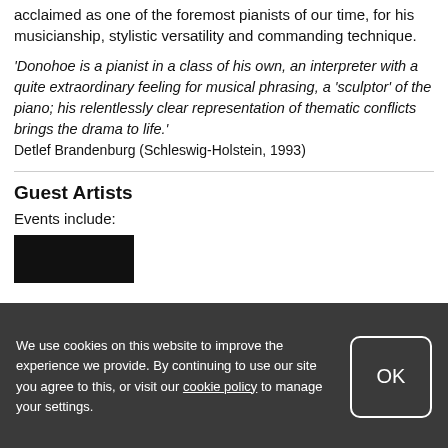acclaimed as one of the foremost pianists of our time, for his musicianship, stylistic versatility and commanding technique.
'Donohoe is a pianist in a class of his own, an interpreter with a quite extraordinary feeling for musical phrasing, a ‘sculptor’ of the piano; his relentlessly clear representation of thematic conflicts brings the drama to life.' Detlef Brandenburg (Schleswig-Holstein, 1993)
Guest Artists
Events include:
[Figure (photo): A dark/black photograph thumbnail]
We use cookies on this website to improve the experience we provide. By continuing to use our site you agree to this, or visit our cookie policy to manage your settings.